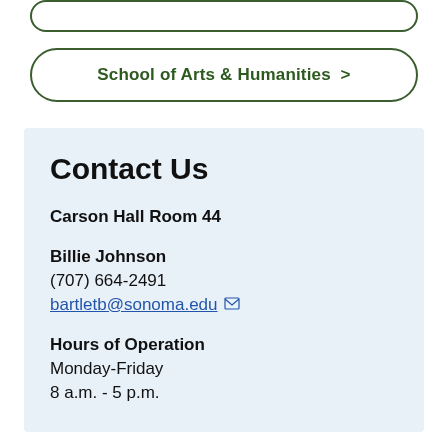School of Arts & Humanities >
Contact Us
Carson Hall Room 44
Billie Johnson
(707) 664-2491
bartletb@sonoma.edu
Hours of Operation
Monday-Friday
8 a.m. - 5 p.m.